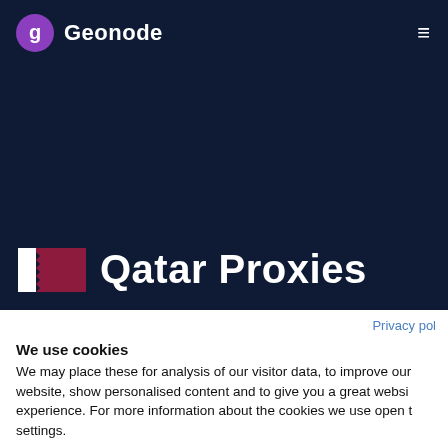Geonode
Qatar Proxies
Privacy pol
We use cookies
We may place these for analysis of our visitor data, to improve our website, show personalised content and to give you a great website experience. For more information about the cookies we use open the settings.
No, adjust
Ok, continue